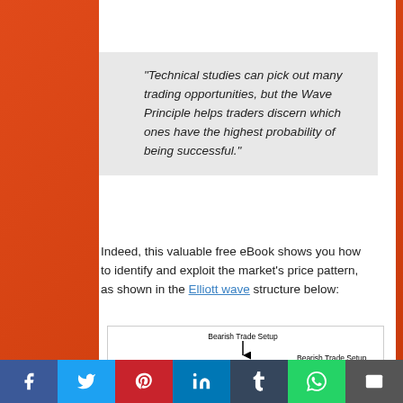“Technical studies can pick out many trading opportunities, but the Wave Principle helps traders discern which ones have the highest probability of being successful.”
Indeed, this valuable free eBook shows you how to identify and exploit the market’s price pattern, as shown in the Elliott wave structure below:
[Figure (other): Elliott wave structure diagram showing Bearish Trade Setup labels with arrows pointing to wave peaks labeled (5) and (B), with wave count (3) visible, showing zigzag price pattern.]
Social share bar: Facebook, Twitter, Pinterest, LinkedIn, Tumblr, WhatsApp, Email